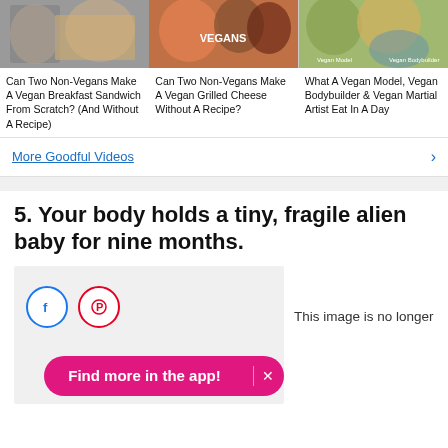[Figure (photo): Three thumbnail images for videos: (1) two people with a vegan breakfast sandwich, (2) group with 'VEGANS' overlay text, (3) vegan model and bodybuilder with food]
Can Two Non-Vegans Make A Vegan Breakfast Sandwich From Scratch? (And Without A Recipe)
Can Two Non-Vegans Make A Vegan Grilled Cheese Without A Recipe?
What A Vegan Model, Vegan Bodybuilder & Vegan Martial Artist Eat In A Day
More Goodful Videos
5. Your body holds a tiny, fragile alien baby for nine months.
[Figure (screenshot): Greyed out image placeholder with Facebook and Pinterest share icons, and text 'This image is no longer']
This image is no longer
Find more in the app!